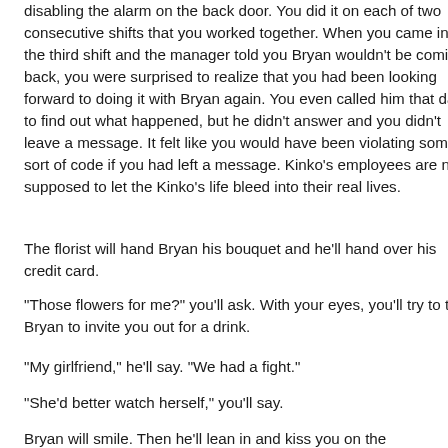disabling the alarm on the back door. You did it on each of two consecutive shifts that you worked together. When you came in for the third shift and the manager told you Bryan wouldn't be coming back, you were surprised to realize that you had been looking forward to doing it with Bryan again. You even called him that day to find out what happened, but he didn't answer and you didn't leave a message. It felt like you would have been violating some sort of code if you had left a message. Kinko's employees are not supposed to let the Kinko's life bleed into their real lives.
The florist will hand Bryan his bouquet and he'll hand over his credit card.
"Those flowers for me?" you'll ask. With your eyes, you'll try to tell Bryan to invite you out for a drink.
"My girlfriend," he'll say. "We had a fight."
"She'd better watch herself," you'll say.
Bryan will smile. Then he'll lean in and kiss you on the